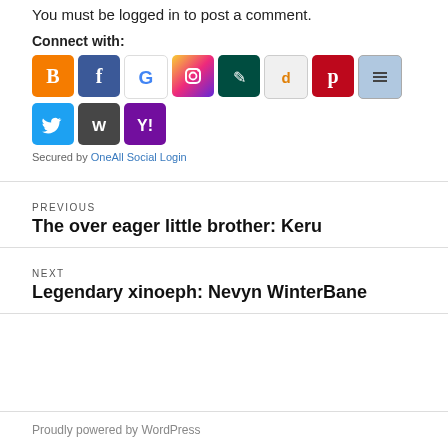You must be logged in to post a comment.
Connect with:
[Figure (other): Social login icons: Blogger, Facebook, Google, Instagram, Hypothesis, Disqus, Pinterest, List (social aggregator), Twitter, WordPress, Yahoo]
Secured by OneAll Social Login
PREVIOUS
The over eager little brother: Keru
NEXT
Legendary xinoeph: Nevyn WinterBane
Proudly powered by WordPress